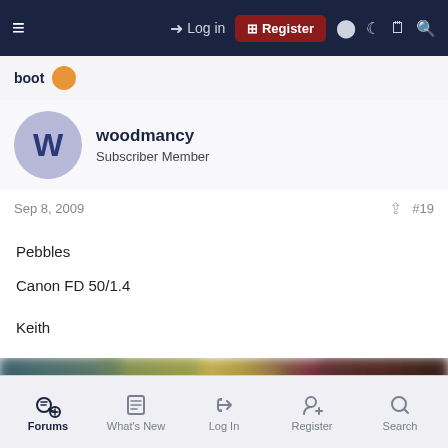Log in | Register
boot (partial previous post)
woodmancy
Subscriber Member
Sep 8, 2009  #19
Pebbles
Canon FD 50/1.4

Keith
[Figure (photo): Blurred macro photograph, likely of pebbles or natural texture with muted earth tones and bokeh]
Forums  What's New  Log In  Register  Search